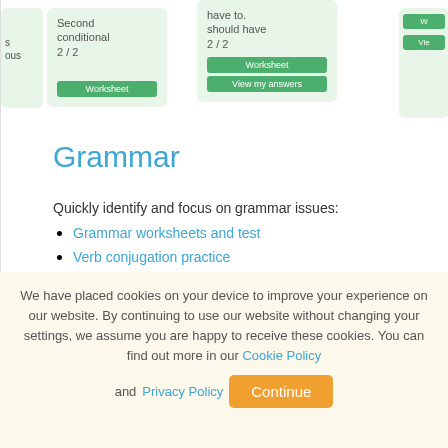[Figure (screenshot): Screenshot of grammar worksheet cards with light green backgrounds showing 'Second conditional 2/2' and cards with green Worksheet and View my answers buttons]
Grammar
Quickly identify and focus on grammar issues:
Grammar worksheets and test
Verb conjugation practice
Conditionals practice
We have placed cookies on your device to improve your experience on our website. By continuing to use our website without changing your settings, we assume you are happy to receive these cookies. You can find out more in our Cookie Policy and Privacy Policy Continue